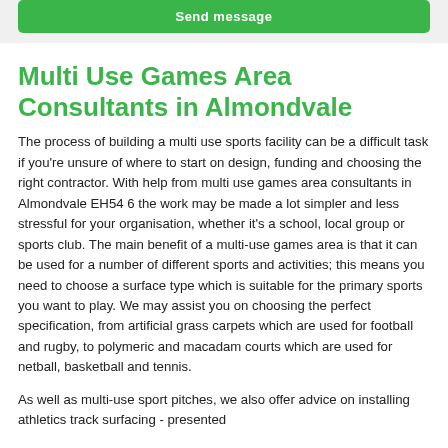Send message
Multi Use Games Area Consultants in Almondvale
The process of building a multi use sports facility can be a difficult task if you're unsure of where to start on design, funding and choosing the right contractor. With help from multi use games area consultants in Almondvale EH54 6 the work may be made a lot simpler and less stressful for your organisation, whether it's a school, local group or sports club. The main benefit of a multi-use games area is that it can be used for a number of different sports and activities; this means you need to choose a surface type which is suitable for the primary sports you want to play. We may assist you on choosing the perfect specification, from artificial grass carpets which are used for football and rugby, to polymeric and macadam courts which are used for netball, basketball and tennis.
As well as multi-use sport pitches, we also offer advice on installing athletics track surfacing - presented